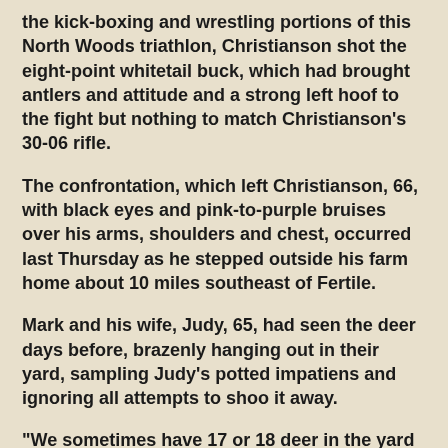the kick-boxing and wrestling portions of this North Woods triathlon, Christianson shot the eight-point whitetail buck, which had brought antlers and attitude and a strong left hoof to the fight but nothing to match Christianson's 30-06 rifle.
The confrontation, which left Christianson, 66, with black eyes and pink-to-purple bruises over his arms, shoulders and chest, occurred last Thursday as he stepped outside his farm home about 10 miles southeast of Fertile.
Mark and his wife, Judy, 65, had seen the deer days before, brazenly hanging out in their yard, sampling Judy's potted impatiens and ignoring all attempts to shoo it away.
"We sometimes have 17 or 18 deer in the yard here, but we have a hard time getting a picture," she said. "You open the door a little and — phfft — they're gone. They're usually so sensitive.